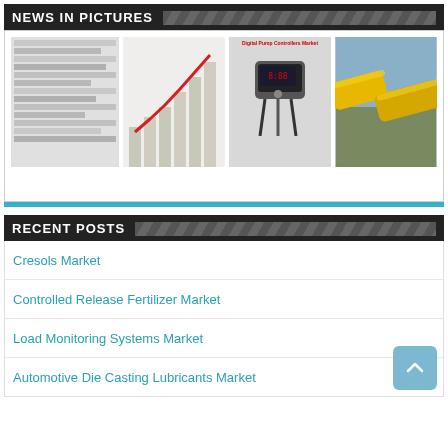NEWS IN PICTURES
[Figure (other): Four thumbnail images in a row: a data table/report image, a bar chart with red upward trend line, a digital pump controller device, and yellow industrial pipes/pipelines.]
RECENT POSTS
Cresols Market
Controlled Release Fertilizer Market
Load Monitoring Systems Market
Automotive Die Casting Lubricants Market